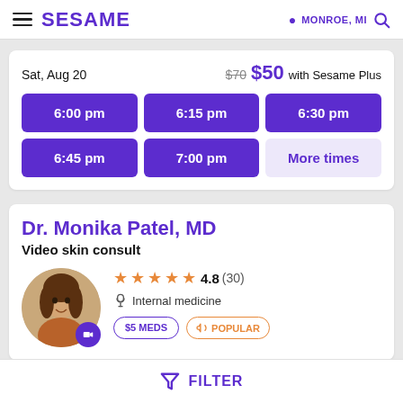SESAME | MONROE, MI
Sat, Aug 20  $70  $50 with Sesame Plus
6:00 pm
6:15 pm
6:30 pm
6:45 pm
7:00 pm
More times
Dr. Monika Patel, MD
Video skin consult
4.8 (30)
Internal medicine
$5 MEDS   POPULAR
FILTER